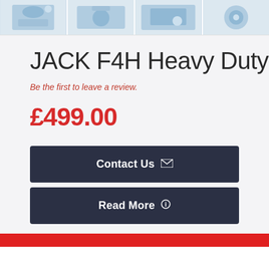[Figure (photo): Four thumbnail images of JACK F4H Heavy Duty sewing machine from different angles, shown at top of page]
JACK F4H Heavy Duty
Be the first to leave a review.
£499.00
Contact Us
Read More